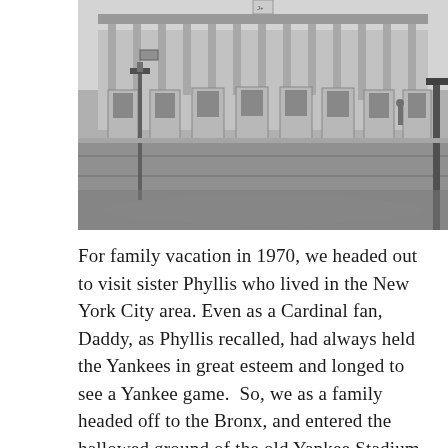[Figure (photo): Black and white photograph of what appears to be an exterior street scene near a stadium or public building, showing ticket booths or small kiosks lining a wide empty street, with lamp posts and a building facade in the background.]
For family vacation in 1970, we headed out to visit sister Phyllis who lived in the New York City area. Even as a Cardinal fan, Daddy, as Phyllis recalled, had always held the Yankees in great esteem and longed to see a Yankee game.  So, we as a family headed off to the Bronx, and entered the hallowed ground of the old Yankee Stadium.  This was the very first time I ever attended a professional game, and I was with Daddy. We had seats somewhere along the first base line if I recall. I remember watching with amazement as Daddy opened his purchased program to the center, taking the sharpened yellow pencil provided, and proceeded to record every statistic about the game. He knew all the abbreviations, and he